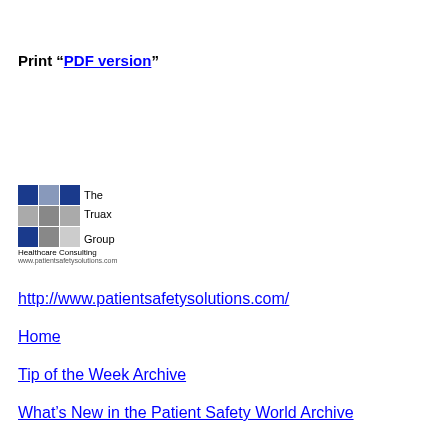Print “PDF version”
[Figure (logo): The Truax Group Healthcare Consulting logo with colored squares grid and website www.patientsafetysolutions.com]
http://www.patientsafetysolutions.com/
Home
Tip of the Week Archive
What’s New in the Patient Safety World Archive